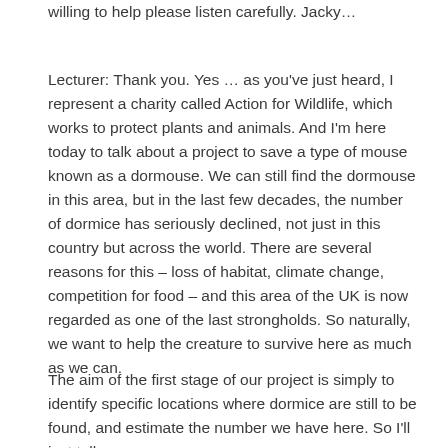willing to help please listen carefully. Jacky…
Lecturer: Thank you. Yes … as you've just heard, I represent a charity called Action for Wildlife, which works to protect plants and animals. And I'm here today to talk about a project to save a type of mouse known as a dormouse. We can still find the dormouse in this area, but in the last few decades, the number of dormice has seriously declined, not just in this country but across the world. There are several reasons for this – loss of habitat, climate change, competition for food – and this area of the UK is now regarded as one of the last strongholds. So naturally, we want to help the creature to survive here as much as we can.
The aim of the first stage of our project is simply to identify specific locations where dormice are still to be found, and estimate the number we have here. So I'll just tell you a